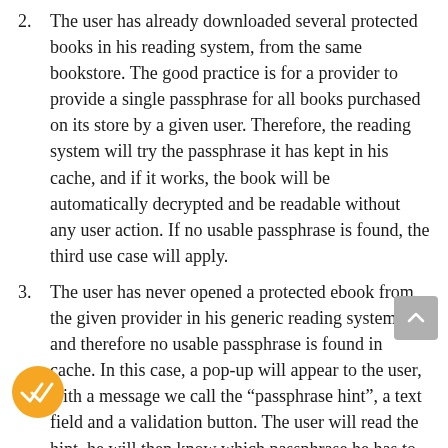2. The user has already downloaded several protected books in his reading system, from the same bookstore. The good practice is for a provider to provide a single passphrase for all books purchased on its store by a given user. Therefore, the reading system will try the passphrase it has kept in his cache, and if it works, the book will be automatically decrypted and be readable without any user action. If no usable passphrase is found, the third use case will apply.
3. The user has never opened a protected ebook from the given provider in his generic reading system, and therefore no usable passphrase is found in cache. In this case, a pop-up will appear to the user, with a message we call the “passphrase hint”, a text field and a validation button. The user will read the hint, he will then know which passphrase he has to enter, he’ll